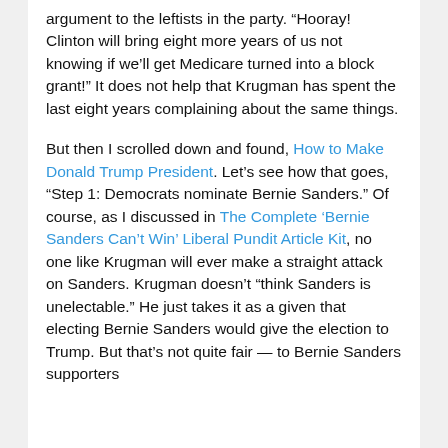argument to the leftists in the party. “Hooray! Clinton will bring eight more years of us not knowing if we’ll get Medicare turned into a block grant!” It does not help that Krugman has spent the last eight years complaining about the same things.
But then I scrolled down and found, How to Make Donald Trump President. Let’s see how that goes, “Step 1: Democrats nominate Bernie Sanders.” Of course, as I discussed in The Complete ‘Bernie Sanders Can’t Win’ Liberal Pundit Article Kit, no one like Krugman will ever make a straight attack on Sanders. Krugman doesn’t “think Sanders is unelectable.” He just takes it as a given that electing Bernie Sanders would give the election to Trump. But that’s not quite fair — to Bernie Sanders supporters